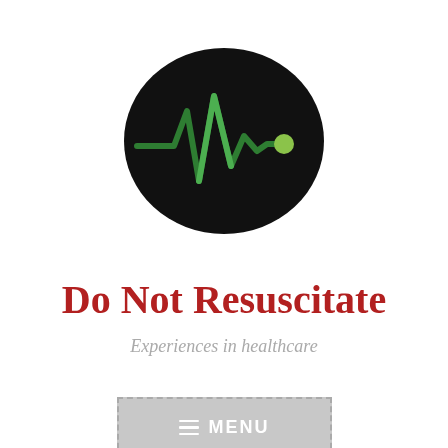[Figure (logo): Black oval/ellipse logo containing a green ECG/heartbeat line with a green dot at the end, resembling a medical heart rate monitor waveform]
Do Not Resuscitate
Experiences in healthcare
≡ MENU